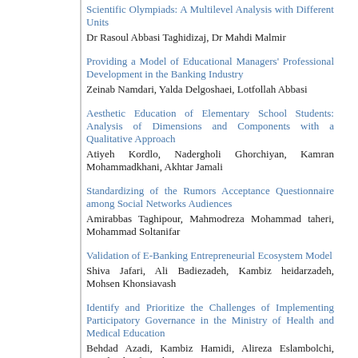Scientific Olympiads: A Multilevel Analysis with Different Units
Dr Rasoul Abbasi Taghidizaj, Dr Mahdi Malmir
Providing a Model of Educational Managers' Professional Development in the Banking Industry
Zeinab Namdari, Yalda Delgoshaei, Lotfollah Abbasi
Aesthetic Education of Elementary School Students: Analysis of Dimensions and Components with a Qualitative Approach
Atiyeh Kordlo, Nadergholi Ghorchiyan, Kamran Mohammadkhani, Akhtar Jamali
Standardizing of the Rumors Acceptance Questionnaire among Social Networks Audiences
Amirabbas Taghipour, Mahmodreza Mohammad taheri, Mohammad Soltanifar
Validation of E-Banking Entrepreneurial Ecosystem Model
Shiva Jafari, Ali Badiezadeh, Kambiz heidarzadeh, Mohsen Khonsiavash
Identify and Prioritize the Challenges of Implementing Participatory Governance in the Ministry of Health and Medical Education
Behdad Azadi, Kambiz Hamidi, Alireza Eslambolchi, Javad Niknafs, Behroz Bayat